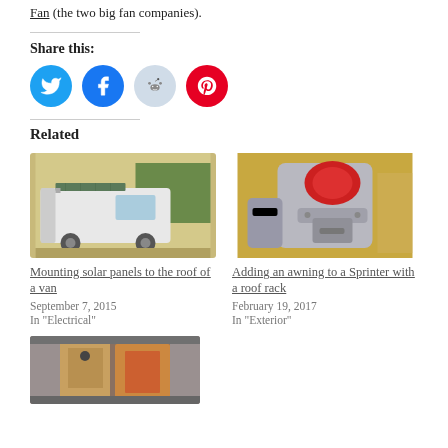Fan (the two big fan companies).
Share this:
[Figure (infographic): Social sharing buttons: Twitter (blue), Facebook (blue), Reddit (light blue/gray), Pinterest (red)]
Related
[Figure (photo): White van/camper van with solar panels on roof, parked outside]
[Figure (photo): Close-up of a roof rack mounting bracket or awning hardware, metallic with red component]
Mounting solar panels to the roof of a van
September 7, 2015
In "Electrical"
Adding an awning to a Sprinter with a roof rack
February 19, 2017
In "Exterior"
[Figure (photo): Interior of a van with wooden panels and storage boxes visible]